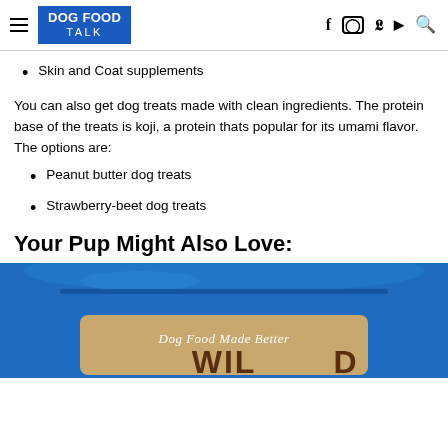DOG FOOD TALK
Skin and Coat supplements
You can also get dog treats made with clean ingredients. The protein base of the treats is koji, a protein thats popular for its umami flavor. The options are:
Peanut butter dog treats
Strawberry-beet dog treats
Your Pup Might Also Love:
[Figure (photo): Partial image of a blue dog food package with text 'Dog Food Made Better' and partial brand name 'Wild' visible at the bottom.]